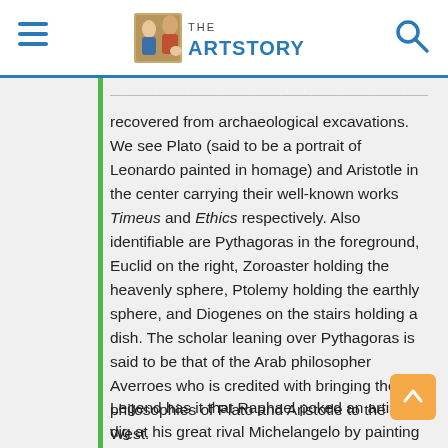THE ARTSTORY
recovered from archaeological excavations. We see Plato (said to be a portrait of Leonardo painted in homage) and Aristotle in the center carrying their well-known works Timeus and Ethics respectively. Also identifiable are Pythagoras in the foreground, Euclid on the right, Zoroaster holding the heavenly sphere, Ptolemy holding the earthly sphere, and Diogenes on the stairs holding a dish. The scholar leaning over Pythagoras is said to be that of the Arab philosopher Averroes who is credited with bringing the philosophies of Plato and Aristotle to the West.
Legend has it that Raphael poked an artistic dig at his great rival Michelangelo by painting his